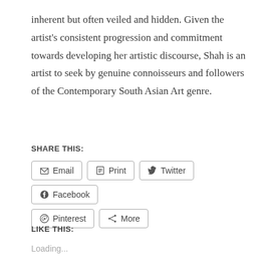inherent but often veiled and hidden. Given the artist's consistent progression and commitment towards developing her artistic discourse, Shah is an artist to seek by genuine connoisseurs and followers of the Contemporary South Asian Art genre.
SHARE THIS:
Email  Print  Twitter  Facebook  Pinterest  More
LIKE THIS:
Loading...